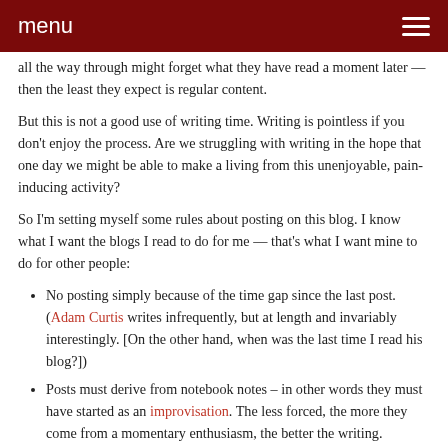menu
all the way through might forget what they have read a moment later — then the least they expect is regular content.
But this is not a good use of writing time. Writing is pointless if you don't enjoy the process. Are we struggling with writing in the hope that one day we might be able to make a living from this unenjoyable, pain-inducing activity?
So I'm setting myself some rules about posting on this blog. I know what I want the blogs I read to do for me — that's what I want mine to do for other people:
No posting simply because of the time gap since the last post. (Adam Curtis writes infrequently, but at length and invariably interestingly. [On the other hand, when was the last time I read his blog?])
Posts must derive from notebook notes – in other words they must have started as an improvisation. The less forced, the more they come from a momentary enthusiasm, the better the writing.
Posts must fit the theme of the blog – in my case, the tyranny of careers and the joy of work for yourself. Not just something interesting I saw today on the Internet on a